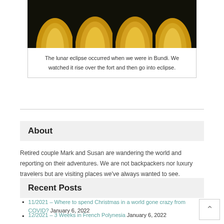[Figure (photo): Photo of glowing orange/yellow arched shapes (possibly lanterns or pumpkins) against a dark background]
The lunar eclipse occurred when we were in Bundi. We watched it rise over the fort and then go into eclipse.
Retired couple Mark and Susan are wandering the world and reporting on their adventures. We are not backpackers nor luxury travelers but are visiting places we've always wanted to see.
About
Recent Posts
11/2021 – Where to spend Christmas in a world gone crazy from COVID? January 6, 2022
12/2021 – 3 Weeks in French Polynesia January 6, 2022